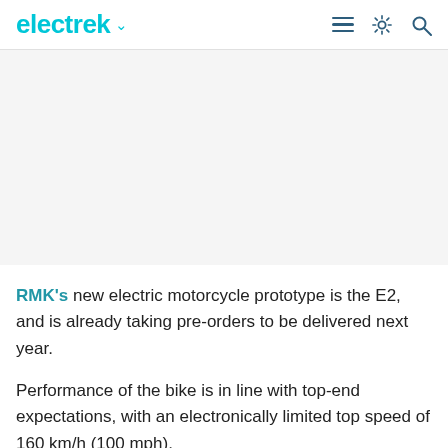electrek
[Figure (photo): Large image area (photo of RMK E2 electric motorcycle or related content) — image not visible in this crop]
RMK's new electric motorcycle prototype is the E2, and is already taking pre-orders to be delivered next year.
Performance of the bike is in line with top-end expectations, with an electronically limited top speed of 160 km/h (100 mph).